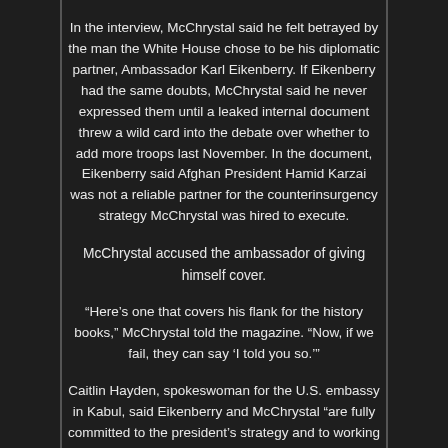In the interview, McChrystal said he felt betrayed by the man the White House chose to be his diplomatic partner, Ambassador Karl Eikenberry. If Eikenberry had the same doubts, McChrystal said he never expressed them until a leaked internal document threw a wild card into the debate over whether to add more troops last November. In the document, Eikenberry said Afghan President Hamid Karzai was not a reliable partner for the counterinsurgency strategy McChrystal was hired to execute.
McChrystal accused the ambassador of giving himself cover.
“Here’s one that covers his flank for the history books,” McChrystal told the magazine. “Now, if we fail, they can say ‘I told you so.’”
Caitlin Hayden, spokeswoman for the U.S. embassy in Kabul, said Eikenberry and McChrystal “are fully committed to the president’s strategy and to working together as one civilian military team.”